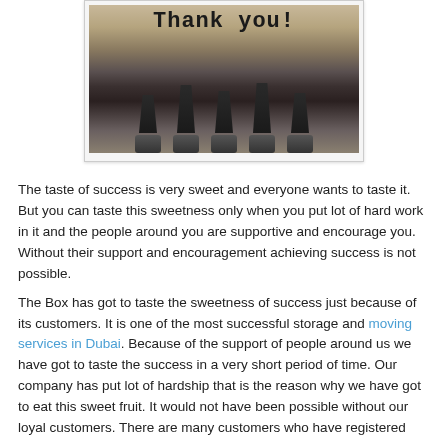[Figure (photo): A close-up photograph of a vintage typewriter with 'Thank you!' typed on paper, showing the typewriter keys and mechanism in the foreground.]
The taste of success is very sweet and everyone wants to taste it. But you can taste this sweetness only when you put lot of hard work in it and the people around you are supportive and encourage you. Without their support and encouragement achieving success is not possible.
The Box has got to taste the sweetness of success just because of its customers. It is one of the most successful storage and moving services in Dubai. Because of the support of people around us we have got to taste the success in a very short period of time. Our company has put lot of hardship that is the reason why we have got to eat this sweet fruit. It would not have been possible without our loyal customers. There are many customers who have registered...